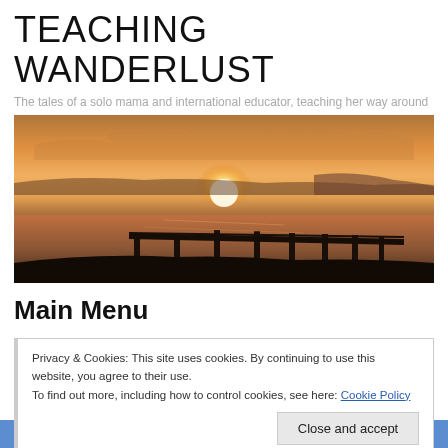TEACHING WANDERLUST
The tales of a solo mama and international educator, teaching her way around the world, one country at a time.
[Figure (photo): Panoramic sunset photo over a calm sea with a wooden pier/dock silhouetted in the foreground, warm orange and golden sky]
Main Menu
Privacy & Cookies: This site uses cookies. By continuing to use this website, you agree to their use.
To find out more, including how to control cookies, see here: Cookie Policy
Close and accept